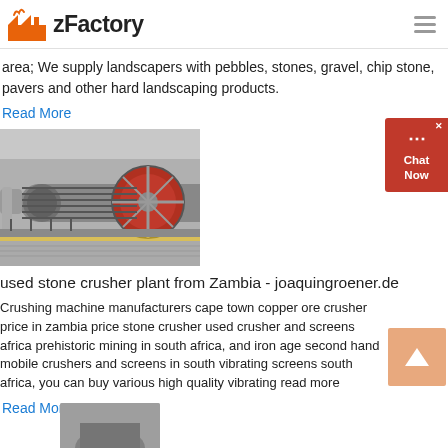zFactory
area; We supply landscapers with pebbles, stones, gravel, chip stone, pavers and other hard landscaping products.
Read More
[Figure (photo): Industrial ball mill / stone crusher plant machinery at a facility]
used stone crusher plant from Zambia - joaquingroener.de
Crushing machine manufacturers cape town copper ore crusher price in zambia price stone crusher used crusher and screens africa prehistoric mining in south africa, and iron age second hand mobile crushers and screens in south vibrating screens south africa, you can buy various high quality vibrating read more
Read More